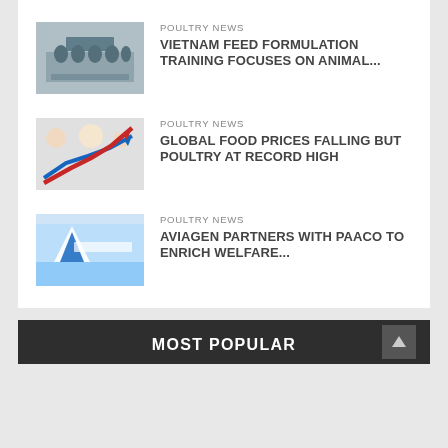[Figure (photo): Group photo of people at a training event]
POULTRY NEWS
VIETNAM FEED FORMULATION TRAINING FOCUSES ON ANIMAL...
[Figure (photo): Red and blue rising arrow charts over food prices background]
POULTRY NEWS
GLOBAL FOOD PRICES FALLING BUT POULTRY AT RECORD HIGH
[Figure (photo): Aviagen logo and crowd at event]
POULTRY NEWS
AVIAGEN PARTNERS WITH PAACO TO ENRICH WELFARE...
MOST POPULAR